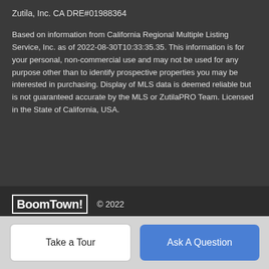Zutila, Inc. CA DRE#01988364
Based on information from California Regional Multiple Listing Service, Inc. as of 2022-08-30T10:33:35.35. This information is for your personal, non-commercial use and may not be used for any purpose other than to identify prospective properties you may be interested in purchasing. Display of MLS data is deemed reliable but is not guaranteed accurate by the MLS or ZutilaPRO Team. Licensed in the State of California, USA.
BoomTown! © 2022
Terms of Use | Privacy Policy | Accessibility | DMCA | Listings Sitemap
Take a Tour
Ask A Question